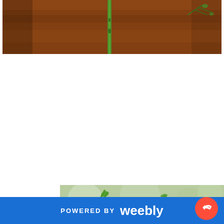[Figure (photo): Close-up photo of a green plant stem/shoot against a reddish-brown blurred background, top portion of image]
[Figure (photo): Close-up photo of green plant stems and delicate foliage with blurred bokeh background, bottom portion of image]
POWERED BY weebly